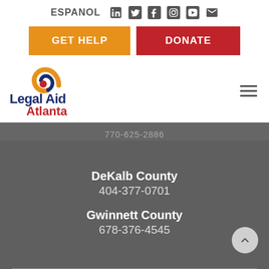ESPANOL [LinkedIn] [Twitter] [Facebook] [Instagram] [YouTube] [Email]
GET HELP | DONATE
[Figure (logo): Legal Aid Atlanta logo with orange/red swirl icon and blue/red text]
770-625-2886
DeKalb County
404-377-0701
Gwinnett County
678-376-4545